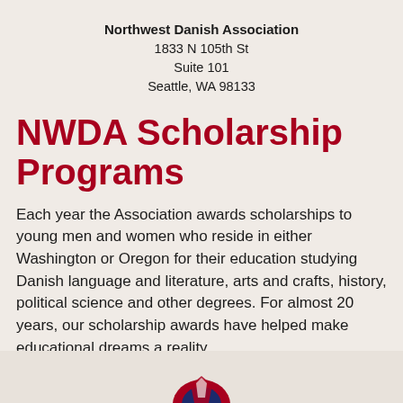Northwest Danish Association
1833 N 105th St
Suite 101
Seattle, WA 98133
NWDA Scholarship Programs
Each year the Association awards scholarships to young men and women who reside in either Washington or Oregon for their education studying Danish language and literature, arts and crafts, history, political science and other degrees. For almost 20 years, our scholarship awards have helped make educational dreams a reality.
[Figure (other): Dark blue button with info icon and 'More Info' text label]
[Figure (logo): Partial logo visible at bottom of page, appears to be Northwest Danish Association emblem]